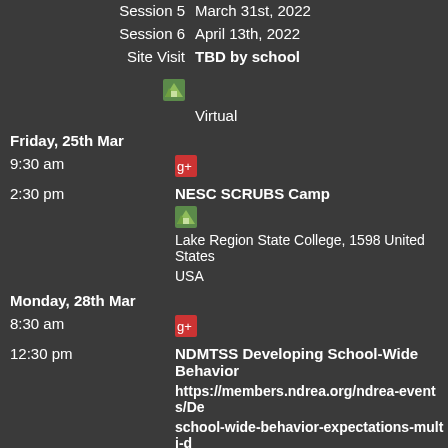Session 5    March 31st, 2022
Session 6    April 13th, 2022
Site Visit    TBD by school
Virtual
Friday, 25th Mar
9:30 am
2:30 pm    NESC SCRUBS Camp    Lake Region State College, 1598 United States USA
Monday, 28th Mar
8:30 am
12:30 pm    NDMTSS Developing School-Wide Behavior    https://members.ndrea.org/ndrea-events/De school-wide-behavior-expectations-multi-d sourceTypeId=Website